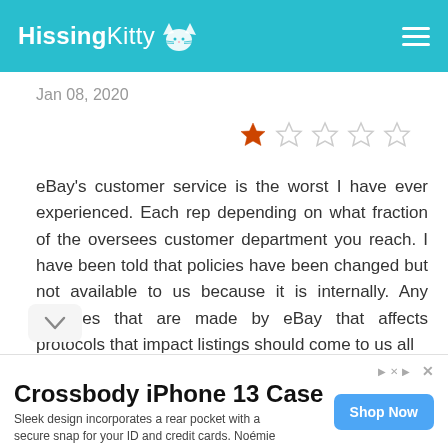HissingKitty
Jan 08, 2020
[Figure (other): 1 out of 5 stars rating — one filled red/orange star and four empty outline stars]
eBay's customer service is the worst I have ever experienced. Each rep depending on what fraction of the oversees customer department you reach. I have been told that policies have been changed but not available to us because it is internally. Any changes that are made by eBay that affects protocols that impact listings should come to us all
Crossbody iPhone 13 Case
Sleek design incorporates a rear pocket with a secure snap for your ID and credit cards. Noémie